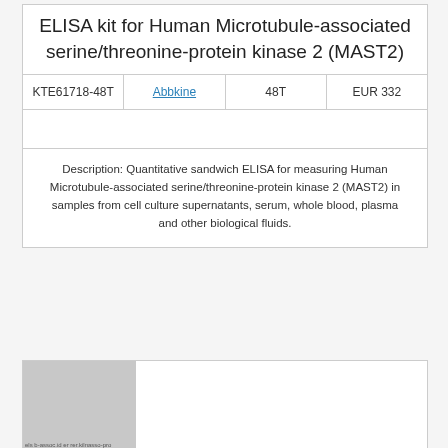ELISA kit for Human Microtubule-associated serine/threonine-protein kinase 2 (MAST2)
| KTE61718-48T | Abbkine | 48T | EUR 332 |
Description: Quantitative sandwich ELISA for measuring Human Microtubule-associated serine/threonine-protein kinase 2 (MAST2) in samples from cell culture supernatants, serum, whole blood, plasma and other biological fluids.
[Figure (photo): Partial image placeholder, gray background with small text overlay]